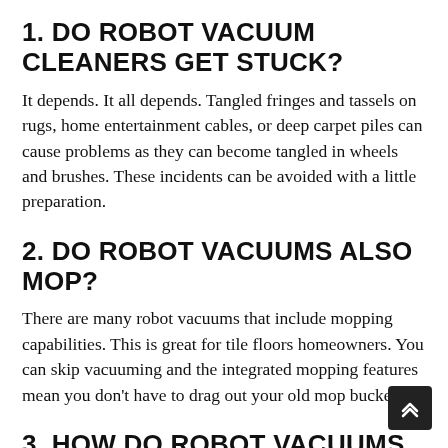1. DO ROBOT VACUUM CLEANERS GET STUCK?
It depends. It all depends. Tangled fringes and tassels on rugs, home entertainment cables, or deep carpet piles can cause problems as they can become tangled in wheels and brushes. These incidents can be avoided with a little preparation.
2. DO ROBOT VACUUMS ALSO MOP?
There are many robot vacuums that include mopping capabilities. This is great for tile floors homeowners. You can skip vacuuming and the integrated mopping features mean you don't have to drag out your old mop bucket.
3. HOW DO ROBOT VACUUMS OPERATE?